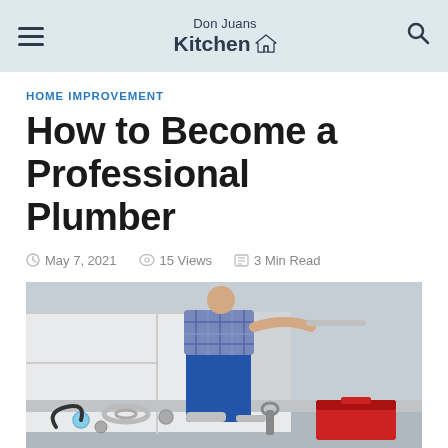Don Juans Kitchen
HOME IMPROVEMENT
How to Become a Professional Plumber
May 7, 2021  15 Views  3 Min Read
[Figure (photo): A plumber in blue overalls and plaid shirt working under a kitchen cabinet, with plumbing tools and fittings laid out on the counter in the foreground.]